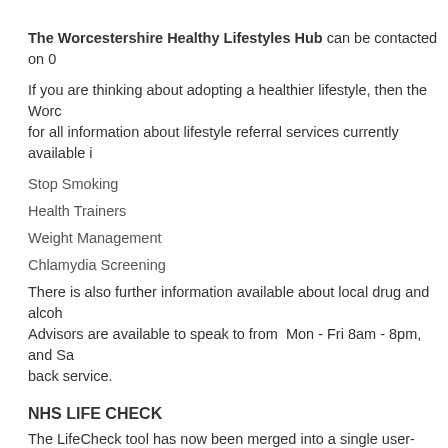The Worcestershire Healthy Lifestyles Hub can be contacted on 0...
If you are thinking about adopting a healthier lifestyle, then the Worc... for all information about lifestyle referral services currently available i...
Stop Smoking
Health Trainers
Weight Management
Chlamydia Screening
There is also further information available about local drug and alco... Advisors are available to speak to from Mon - Fri 8am - 8pm, and Sa... back service.
NHS LIFE CHECK
The LifeCheck tool has now been merged into a single user-friendly...
The new tool is very user-friendly and concise. At the start of the ass... and advice based on the answers provided about your health and lif... look into the tips and guidance on how to improve your health. You c... towards a healthier lifestyle! Click here for the NHS Life Check to...